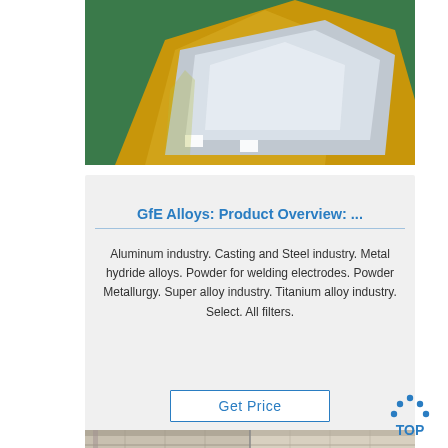[Figure (photo): Metal sheets or aluminum plates stacked and wrapped in plastic packaging on a green factory floor]
GfE Alloys: Product Overview: ...
Aluminum industry. Casting and Steel industry. Metal hydride alloys. Powder for welding electrodes. Powder Metallurgy. Super alloy industry. Titanium alloy industry. Select. All filters.
Get Price
[Figure (photo): Industrial factory interior with overhead cranes and structural yellow beams]
[Figure (logo): TOP badge logo with blue dots arranged in an arc above the text TOP]